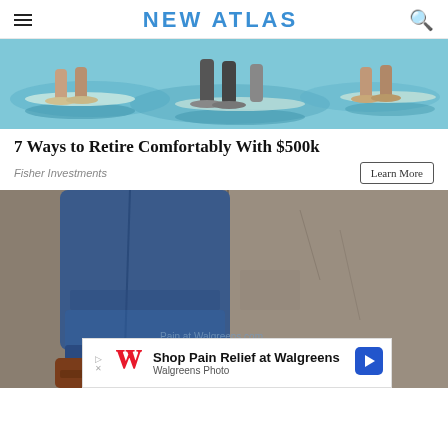NEW ATLAS
[Figure (photo): Top cropped image of people standing near water, wearing flip-flops and sandals, on paddleboards or near blue water surface]
7 Ways to Retire Comfortably With $500k
Fisher Investments
Learn More
[Figure (photo): Close-up photo of a person wearing blue jeans and brown leather boots, walking in front of a concrete wall background]
Pain at Walgreens.com
Shop Pain Relief at Walgreens
Walgreens Photo